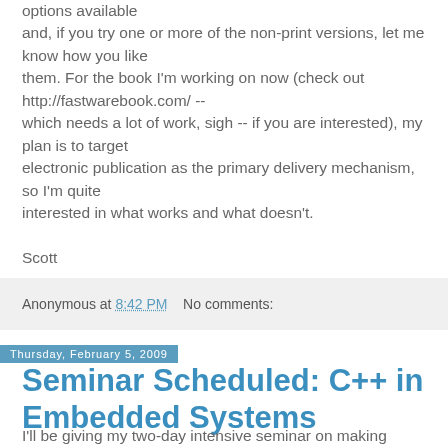options available and, if you try one or more of the non-print versions, let me know how you like them. For the book I'm working on now (check out http://fastwarebook.com/ -- which needs a lot of work, sigh -- if you are interested), my plan is to target electronic publication as the primary delivery mechanism, so I'm quite interested in what works and what doesn't.

Scott
Anonymous at 8:42 PM   No comments:
Thursday, February 5, 2009
Seminar Scheduled: C++ in Embedded Systems
I'll be giving my two-day intensive seminar on making effective use of C++ in